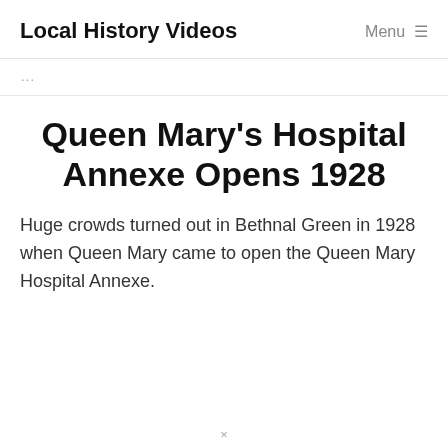Local History Videos   Menu ☰
…
Queen Mary's Hospital Annexe Opens 1928
Huge crowds turned out in Bethnal Green in 1928 when Queen Mary came to open the Queen Mary Hospital Annexe.
×